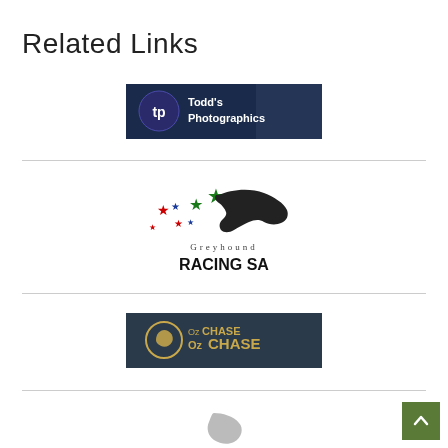Related Links
[Figure (logo): Todd's Photographics logo - dark blue banner with 'tp' circle icon and text 'Todd's Photographics' with racing photo background]
[Figure (logo): Greyhound Racing SA logo - greyhound dog silhouette with colorful stars, text 'Greyhound RACING SA']
[Figure (logo): OzChase logo - dark teal banner with greyhound circle icon and text 'OzCHASE' in gold/yellow]
[Figure (logo): Partial logo visible at bottom of page - appears to be a greyhound related organization]